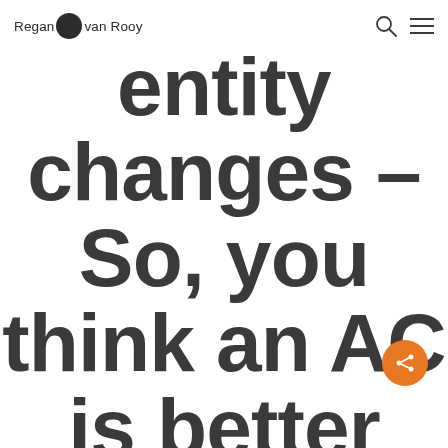Regan van Rooy
entity changes – So, you think an AC is better than a GBL? Think